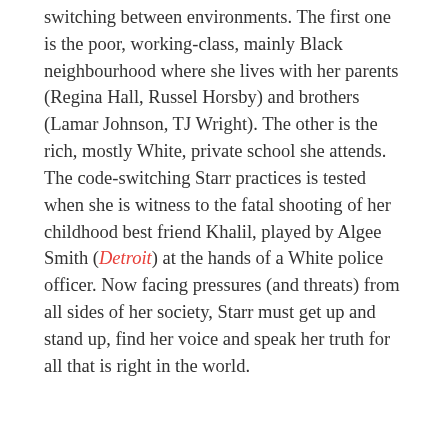switching between environments. The first one is the poor, working-class, mainly Black neighbourhood where she lives with her parents (Regina Hall, Russel Horsby) and brothers (Lamar Johnson, TJ Wright). The other is the rich, mostly White, private school she attends. The code-switching Starr practices is tested when she is witness to the fatal shooting of her childhood best friend Khalil, played by Algee Smith (Detroit) at the hands of a White police officer. Now facing pressures (and threats) from all sides of her society, Starr must get up and stand up, find her voice and speak her truth for all that is right in the world.